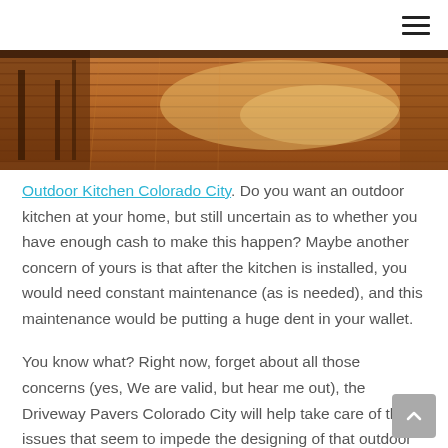[hamburger menu icon]
[Figure (photo): Warm-toned hardwood deck/floor boards photographed from a low angle, with sunlight reflecting off the surface. Table and chair legs visible at the left edge.]
Outdoor Kitchen Colorado City. Do you want an outdoor kitchen at your home, but still uncertain as to whether you have enough cash to make this happen? Maybe another concern of yours is that after the kitchen is installed, you would need constant maintenance (as is needed), and this maintenance would be putting a huge dent in your wallet.
You know what? Right now, forget about all those concerns (yes, We are valid, but hear me out), the Driveway Pavers Colorado City will help take care of these issues that seem to impede the designing of that outdoor kitchen you hope to have.